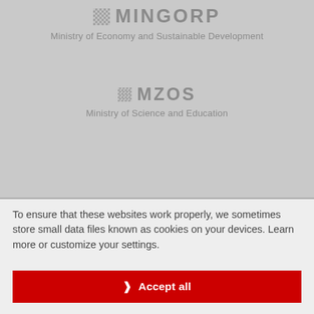[Figure (logo): MINGORP logo with Croatian checkerboard pattern and text 'Ministry of Economy and Sustainable Development']
[Figure (logo): MZOS logo with Croatian checkerboard pattern and text 'Ministry of Science and Education']
To ensure that these websites work properly, we sometimes store small data files known as cookies on your devices. Learn more or customize your settings.
❯ Accept all
Read more ❯
Cookie settings ❯